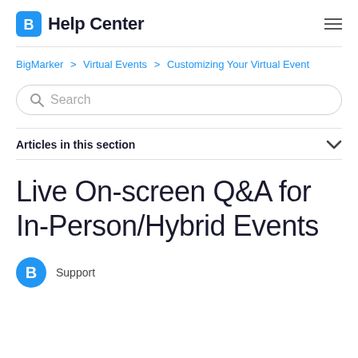Help Center
BigMarker > Virtual Events > Customizing Your Virtual Event
Search
Articles in this section
Live On-screen Q&A for In-Person/Hybrid Events
Support